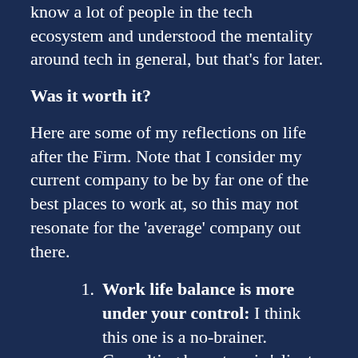spot of fun. In this time, I also started getting to know a lot of people in the tech ecosystem and understood the mentality around tech in general, but that's for later.
Was it worth it?
Here are some of my reflections on life after the Firm. Note that I consider my current company to be by far one of the best places to work at, so this may not resonate for the 'average' company out there.
Work life balance is more under your control: I think this one is a no-brainer. Consulting by nature is 'client service' — which means that your life is under the client's control. If you are unlucky enough